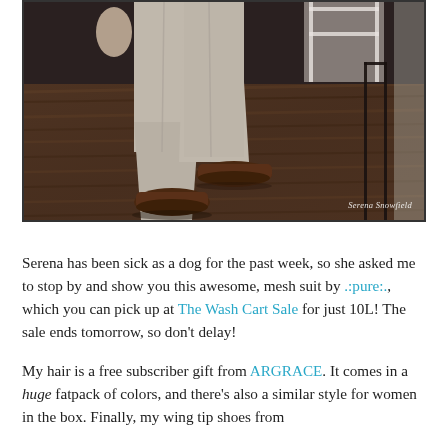[Figure (photo): A 3D rendered virtual avatar (Second Life character) showing the lower half of a person walking, wearing light beige/grey dress trousers and dark brown loafer-style shoes. The background shows a dark wood-grain floor and furniture. Watermark reads 'Serena Snowfield' in the lower-right corner.]
Serena has been sick as a dog for the past week, so she asked me to stop by and show you this awesome, mesh suit by .:pure:., which you can pick up at The Wash Cart Sale for just 10L! The sale ends tomorrow, so don't delay!
My hair is a free subscriber gift from ARGRACE. It comes in a huge fatpack of colors, and there's also a similar style for women in the box. Finally, my wing tip shoes from